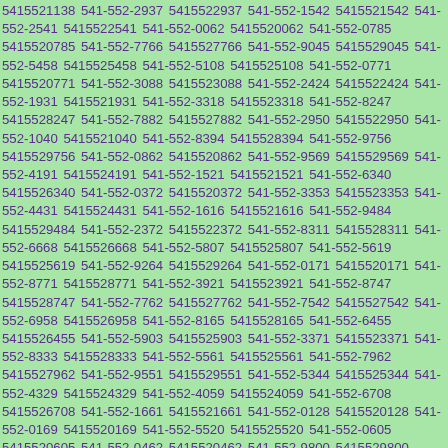5415521138 541-552-2937 5415522937 541-552-1542 5415521542 541-552-2541 5415522541 541-552-0062 5415520062 541-552-0785 5415520785 541-552-7766 5415527766 541-552-9045 5415529045 541-552-5458 5415525458 541-552-5108 5415525108 541-552-0771 5415520771 541-552-3088 5415523088 541-552-2424 5415522424 541-552-1931 5415521931 541-552-3318 5415523318 541-552-8247 5415528247 541-552-7882 5415527882 541-552-2950 5415522950 541-552-1040 5415521040 541-552-8394 5415528394 541-552-9756 5415529756 541-552-0862 5415520862 541-552-9569 5415529569 541-552-4191 5415524191 541-552-1521 5415521521 541-552-6340 5415526340 541-552-0372 5415520372 541-552-3353 5415523353 541-552-4431 5415524431 541-552-1616 5415521616 541-552-9484 5415529484 541-552-2372 5415522372 541-552-8311 5415528311 541-552-6668 5415526668 541-552-5807 5415525807 541-552-5619 5415525619 541-552-9264 5415529264 541-552-0171 5415520171 541-552-8771 5415528771 541-552-3921 5415523921 541-552-8747 5415528747 541-552-7762 5415527762 541-552-7542 5415527542 541-552-6958 5415526958 541-552-8165 5415528165 541-552-6455 5415526455 541-552-5903 5415525903 541-552-3371 5415523371 541-552-8333 5415528333 541-552-5561 5415525561 541-552-7962 5415527962 541-552-9551 5415529551 541-552-5344 5415525344 541-552-4329 5415524329 541-552-4059 5415524059 541-552-6708 5415526708 541-552-1661 5415521661 541-552-0128 5415520128 541-552-0169 5415520169 541-552-5520 5415525520 541-552-0605 5415520605 541-552-0462 5415520462 541-552-9800 5415529800